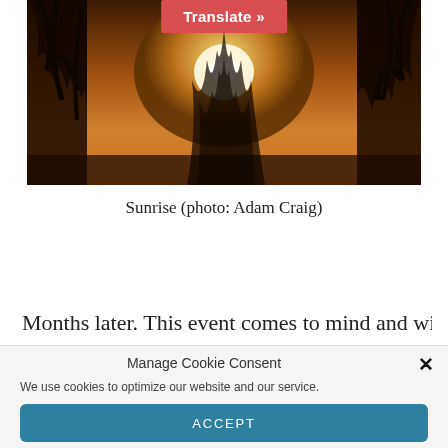[Figure (photo): Sunrise photo showing silhouettes of trees against a warm golden sky with the sun visible through the branches. A red 'Translate »' button overlays the top center of the image.]
Sunrise (photo: Adam Craig)
Months later. This event comes to mind and with it
Manage Cookie Consent
We use cookies to optimize our website and our service.
ACCEPT